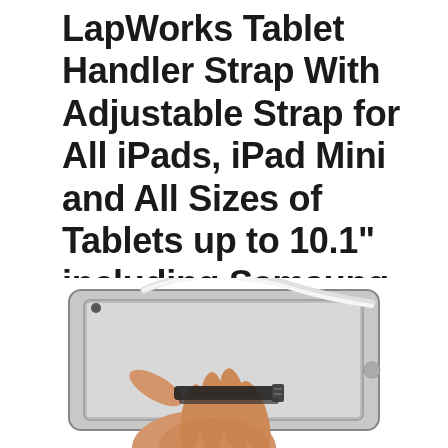LapWorks Tablet Handler Strap With Adjustable Strap for All iPads, iPad Mini and All Sizes of Tablets up to 10.1" including Samsung, Asus, Acer, Google, Lenovo, Kindles And Nooks
[Figure (photo): A hand holding a silver tablet (iPad) from the back, with a black adjustable hand strap looped around the fingers and a white cable/strap visible along the top edge of the tablet.]